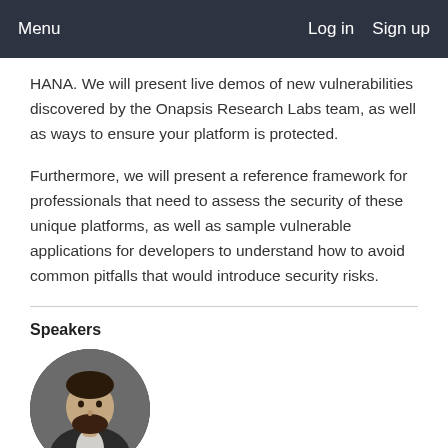Menu   Log in   Sign up
HANA. We will present live demos of new vulnerabilities discovered by the Onapsis Research Labs team, as well as ways to ensure your platform is protected.
Furthermore, we will present a reference framework for professionals that need to assess the security of these unique platforms, as well as sample vulnerable applications for developers to understand how to avoid common pitfalls that would introduce security risks.
Speakers
[Figure (photo): Circular headshot photo of Juan Perez-Etchegoyen, a man with dark beard wearing a dark suit jacket]
Juan Perez-Etchegoyen